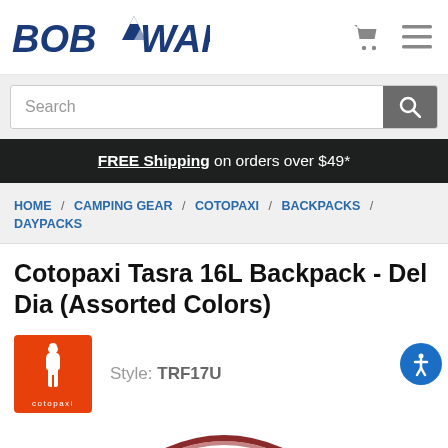BOB WARD'S [logo] [cart icon] [menu icon]
Search
FREE Shipping on orders over $49*
HOME / CAMPING GEAR / COTOPAXI / BACKPACKS / DAYPACKS
Cotopaxi Tasra 16L Backpack - Del Dia (Assorted Colors)
[Figure (logo): Cotopaxi brand logo — orange square with white llama silhouette and 'cotopaxi' text]
Style: TRF17U
[Figure (photo): Partial view of Cotopaxi Tasra 16L Backpack in reddish/maroon Del Dia color, showing top arc of the bag]